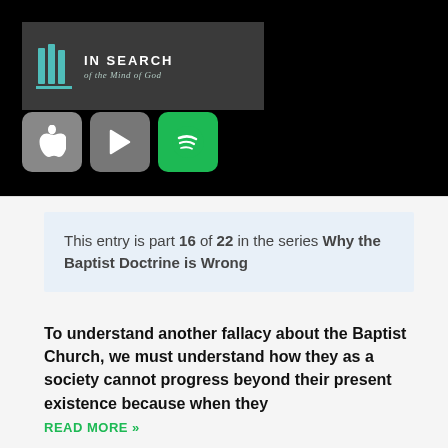[Figure (logo): In Search of the Mind of God logo — dark grey banner with teal book icon and white text]
[Figure (infographic): Three app store buttons: Apple Podcasts (grey), Google Play (grey), Spotify (green)]
This entry is part 16 of 22 in the series Why the Baptist Doctrine is Wrong
To understand another fallacy about the Baptist Church, we must understand how they as a society cannot progress beyond their present existence because when they
READ MORE »